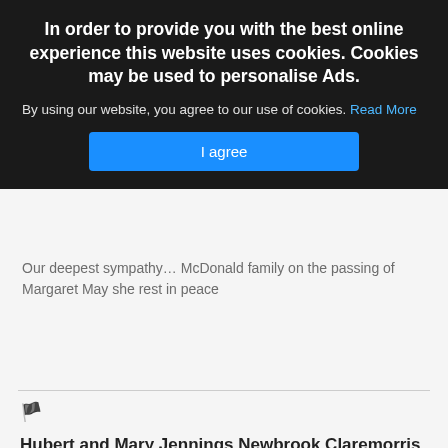In order to provide you with the best online experience this website uses cookies. Cookies may be used to personalise Ads.
By using our website, you agree to our use of cookies. Read More
I agree
Our deepest sympathy … McDonald family on the passing of Margaret May she rest in peace
Hubert and Mary Jennings Newbrook Claremorris
Sincere sympathy to the extended McDonnell and Charles Families on the death Margaret May her soul rest in eternal peace
8 months 11 days